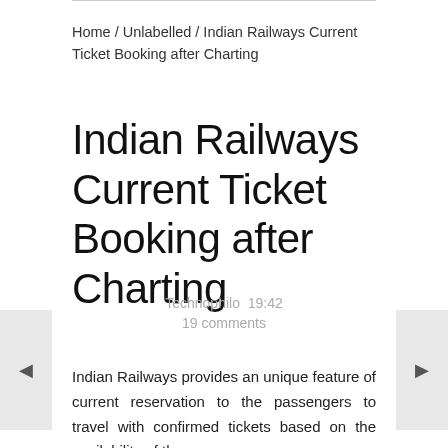Home / Unlabelled / Indian Railways Current Ticket Booking after Charting
Indian Railways Current Ticket Booking after Charting
Technophilo  19:42
19 comments
Indian Railways provides an unique feature of current reservation to the passengers to travel with confirmed tickets based on the availability of the